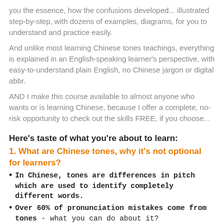you the essence, how the confusions developed... illustrated step-by-step, with dozens of examples, diagrams, for you to understand and practice easily.
And unlike most learning Chinese tones teachings, everything is explained in an English-speaking learner's perspective, with easy-to-understand plain English, no Chinese jargon or digital abbr.
AND I make this course available to almost anyone who wants or is learning Chinese, because I offer a complete, no-risk opportunity to check out the skills FREE, if you choose...
Here's taste of what you're about to learn:
1. What are Chinese tones, why it's not optional for learners?
In Chinese, tones are differences in pitch which are used to identify completely different words.
Over 60% of pronunciation mistakes come from tones - what you can do about it?